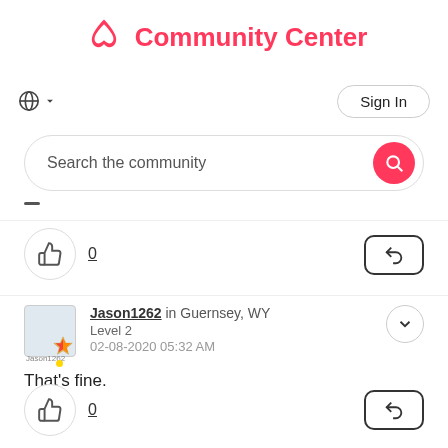[Figure (logo): Airbnb Community Center logo with pink airbnb icon and pink bold text]
Sign In
Search the community
0
Jason1262 in Guernsey, WY Level 2 02-08-2020 05:32 AM
That's fine.
0